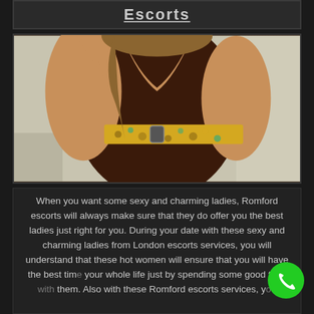Escorts
[Figure (photo): Torso of a woman wearing a dark brown/maroon low-cut top with a decorative leopard-print and sequined belt/band around the midsection, photographed outdoors.]
When you want some sexy and charming ladies, Romford escorts will always make sure that they do offer you the best ladies just right for you. During your date with these sexy and charming ladies from London escorts services, you will understand that these hot women will ensure that you will have the best time your whole life just by spending some good time with them. Also with these Romford escorts services, you